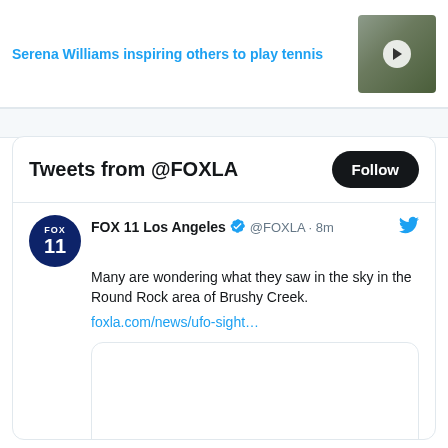Serena Williams inspiring others to play tennis
[Figure (photo): Thumbnail image of two people with a video play button overlay]
Tweets from @FOXLA
Follow
[Figure (logo): FOX 11 circular logo, dark blue background with white FOX 11 text]
FOX 11 Los Angeles ✔ @FOXLA · 8m
Many are wondering what they saw in the sky in the Round Rock area of Brushy Creek. foxla.com/news/ufo-sight…
[Figure (photo): Embedded tweet image placeholder, white rectangle with rounded corners and border]